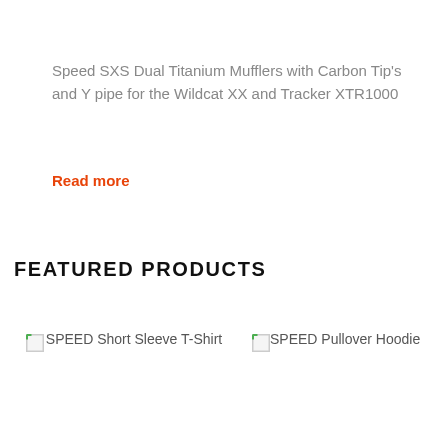Speed SXS Dual Titanium Mufflers with Carbon Tip's and Y pipe for the Wildcat XX and Tracker XTR1000
Read more
FEATURED PRODUCTS
[Figure (other): Broken image placeholder for SPEED Short Sleeve T-Shirt product]
SPEED Short Sleeve T-Shirt
[Figure (other): Broken image placeholder for SPEED Pullover Hoodie product]
SPEED Pullover Hoodie